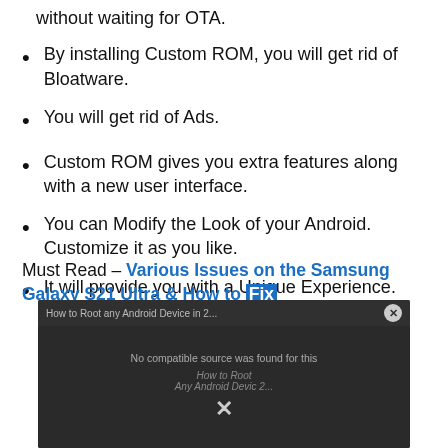without waiting for OTA.
By installing Custom ROM, you will get rid of Bloatware.
You will get rid of Ads.
Custom ROM gives you extra features along with a new user interface.
You can Modify the Look of your Android. Customize it as you like.
It will provide you with a Unique Experience.
Must Read – Various Issues on the Samsung Galaxy S21 Ultra & How to Fix